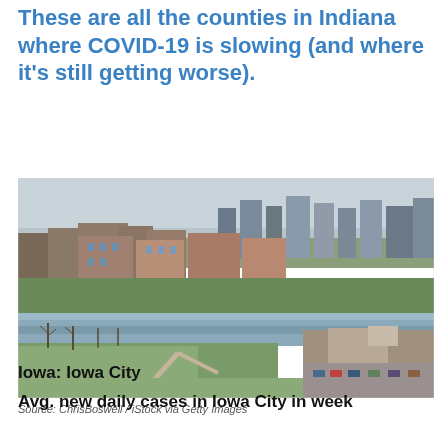These are all the counties in Indiana where COVID-19 is slowing (and where it's still getting worse).
[Figure (photo): Aerial/drone photograph of Iowa City showing the Iowa River running through the city with university buildings and downtown area visible, taken in early spring with bare trees.]
Source: ChrisBoswell / iStock via Getty Images
Iowa: Iowa City
Avg. new daily cases in Iowa City in week